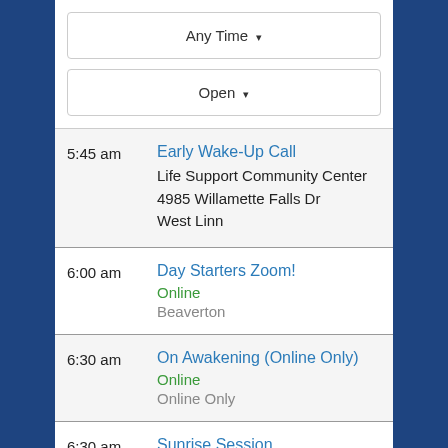[Figure (screenshot): Dropdown button labeled 'Any Time' with a downward arrow]
[Figure (screenshot): Dropdown button labeled 'Open' with a downward arrow]
| Time | Meeting |
| --- | --- |
| 5:45 am | Early Wake-Up Call
Life Support Community Center
4985 Willamette Falls Dr
West Linn |
| 6:00 am | Day Starters Zoom!
Online
Beaverton |
| 6:30 am | On Awakening (Online Only)
Online
Online Only |
| 6:30 am | Sunrise Session
... |